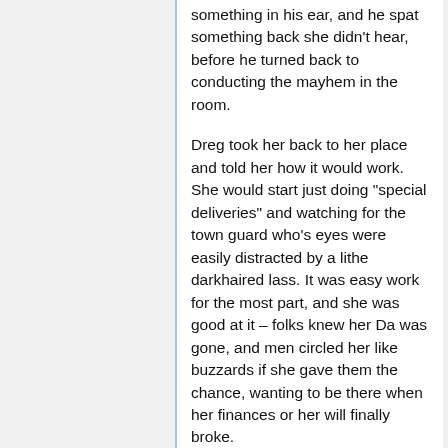something in his ear, and he spat something back she didn't hear, before he turned back to conducting the mayhem in the room.
Dreg took her back to her place and told her how it would work. She would start just doing "special deliveries" and watching for the town guard who's eyes were easily distracted by a lithe darkhaired lass. It was easy work for the most part, and she was good at it – folks knew her Da was gone, and men circled her like buzzards if she gave them the chance, wanting to be there when her finances or her will finally broke.
But those tasks weren't enough to support her and Vari; soon, she was pestering Dreg for bigger opportunity. Happy with her performance, he